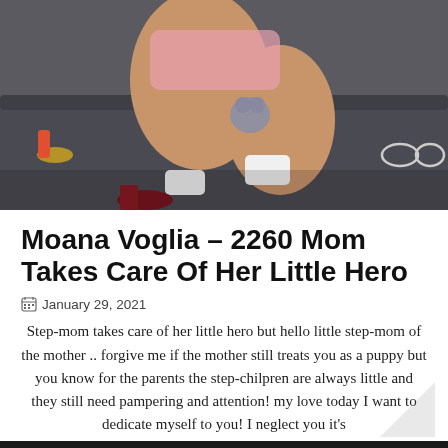[Figure (photo): Person sitting on dark gray sofa holding a small gray stuffed animal toy, wearing a pink outfit and white socks with dark red heels visible, with toys and glasses in the background]
Moana Voglia – 2260 Mom Takes Care Of Her Little Hero
January 29, 2021
Step-mom takes care of her little hero but hello little step-mom of the mother .. forgive me if the mother still treats you as a puppy but you know for the parents the step-chilpren are always little and they still need pampering and attention! my love today I want to dedicate myself to you! I neglect you it's